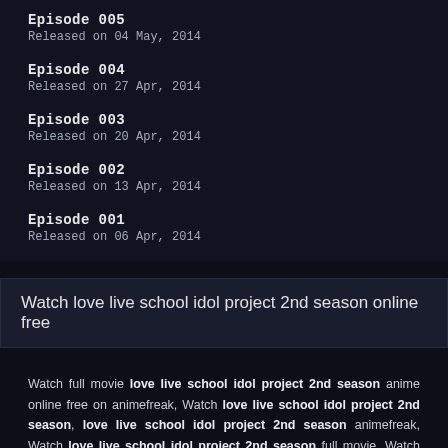Episode 005
Released on 04 May, 2014
Episode 004
Released on 27 Apr, 2014
Episode 003
Released on 20 Apr, 2014
Episode 002
Released on 13 Apr, 2014
Episode 001
Released on 06 Apr, 2014
Watch love live school idol project 2nd season online free
Watch full movie love live school idol project 2nd season anime online free on animefreak, Watch love live school idol project 2nd season, love live school idol project 2nd season animefreak, Watch love live school idol project 2nd season full movie, Watch love live school idol project 2nd season in HD quality online for free, Watch love live school idol project 2nd season full movie online, love live school idol project 2nd season animefreak, watch love live school idol project 2nd season full movie animefreak, watch love live school idol project 2nd season 2022 online free